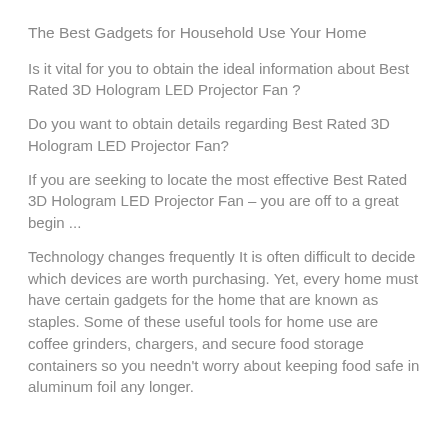The Best Gadgets for Household Use Your Home
Is it vital for you to obtain the ideal information about Best Rated 3D Hologram LED Projector Fan ?
Do you want to obtain details regarding Best Rated 3D Hologram LED Projector Fan?
If you are seeking to locate the most effective Best Rated 3D Hologram LED Projector Fan – you are off to a great begin ...
Technology changes frequently It is often difficult to decide which devices are worth purchasing. Yet, every home must have certain gadgets for the home that are known as staples. Some of these useful tools for home use are coffee grinders, chargers, and secure food storage containers so you needn't worry about keeping food safe in aluminum foil any longer.